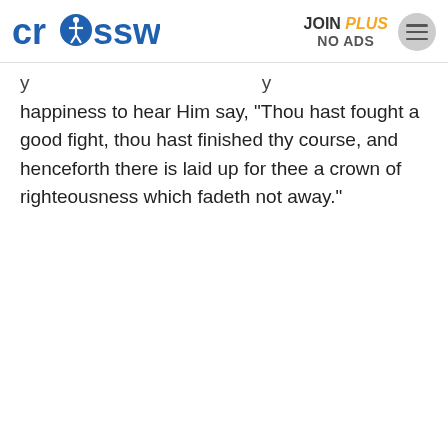crosswalk.com | JOIN PLUS NO ADS
happiness to hear Him say, "Thou hast fought a good fight, thou hast finished thy course, and henceforth there is laid up for thee a crown of righteousness which fadeth not away."